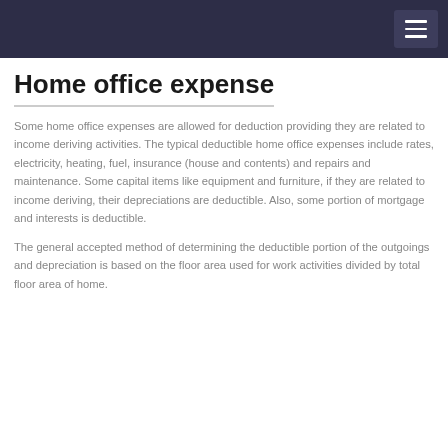Home office expense
Some home office expenses are allowed for deduction providing they are related to income deriving activities. The typical deductible home office expenses include rates, electricity, heating, fuel, insurance (house and contents) and repairs and maintenance. Some capital items like equipment and furniture, if they are related to income deriving, their depreciations are deductible. Also, some portion of mortgage and interests is deductible.
The general accepted method of determining the deductible portion of the outgoings and depreciation is based on the floor area used for work activities divided by total floor area of home.